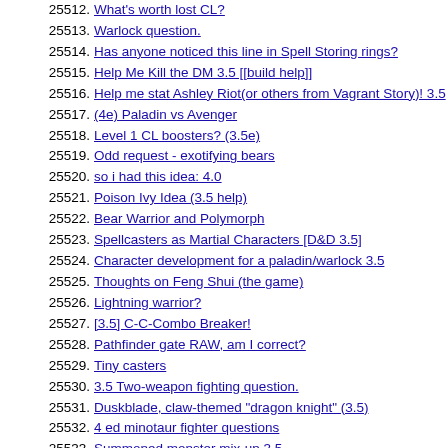25512. What's worth lost CL?
25513. Warlock question.
25514. Has anyone noticed this line in Spell Storing rings?
25515. Help Me Kill the DM 3.5 [[build help]]
25516. Help me stat Ashley Riot(or others from Vagrant Story)! 3.5
25517. (4e) Paladin vs Avenger
25518. Level 1 CL boosters? (3.5e)
25519. Odd request - exotifying bears
25520. so i had this idea: 4.0
25521. Poison Ivy Idea (3.5 help)
25522. Bear Warrior and Polymorph
25523. Spellcasters as Martial Characters [D&D 3.5]
25524. Character development for a paladin/warlock 3.5
25525. Thoughts on Feng Shui (the game)
25526. Lightning warrior?
25527. [3.5] C-C-Combo Breaker!
25528. Pathfinder gate RAW, am I correct?
25529. Tiny casters
25530. 3.5 Two-weapon fighting question.
25531. Duskblade, claw-themed "dragon knight" (3.5)
25532. 4 ed minotaur fighter questions
25533. Summoned monster mix-up 3.5
25534. Disarm Feat
25535. [3.5] What would be the Swim Check to swim through gold coins/treasure?
25536. When Completing a Quest isn't worth the Cost
25537. <--New Guy: Anyone want to offer a little advice on my Conjurer plans?
25538. [Pathfinder] Advice for Paladin build
25539. ...